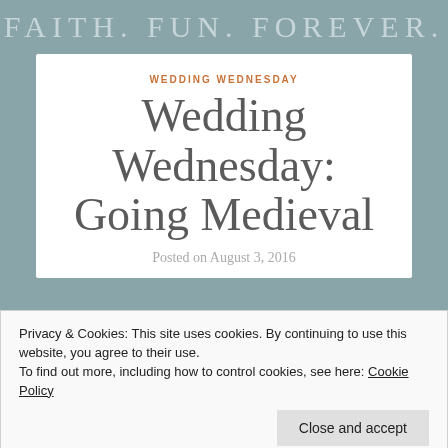FAITH. FUN. FOREVER.
WEDDING WEDNESDAY
Wedding Wednesday: Going Medieval
Posted on August 3, 2016
Privacy & Cookies: This site uses cookies. By continuing to use this website, you agree to their use.
To find out more, including how to control cookies, see here: Cookie Policy
Close and accept
I'm late! I'm late! I'm late for a very important date!!